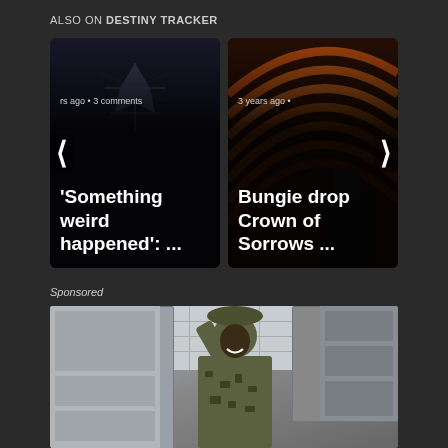ALSO ON DESTINY TRACKER
[Figure (screenshot): Carousel card 1: dark background with Destiny logo symbol, text showing 'rs ago • 3 comments' and title ''Something weird happened': ...']
[Figure (screenshot): Carousel card 2: orange/brown layered background image, text showing '3 years ago •' and title 'Bungie drop Crown of Sorrows ...']
Sponsored
[Figure (photo): Sponsored image: person in military camouflage uniform leaning against wall panels/equipment]